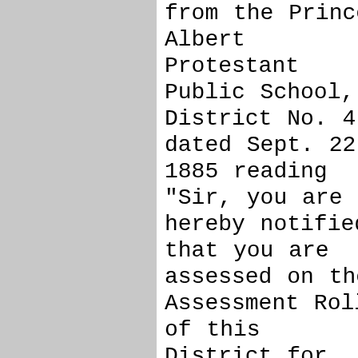from the Prince Albert Protestant Public School, District No. 4 dated Sept. 22 1885 reading "Sir, you are hereby notified that you are assessed on the Assessment Roll of this District for the following properties: River Lot No. 74 Range 5 Lots 6, ,7, 8 - 120.00, River Lot No. 79 Block M Lots 11, 12, 29, 30 - 40.00 for total of $160.00 - the taxes on which at the rate of 5 miles[?] on the dollar amounts to